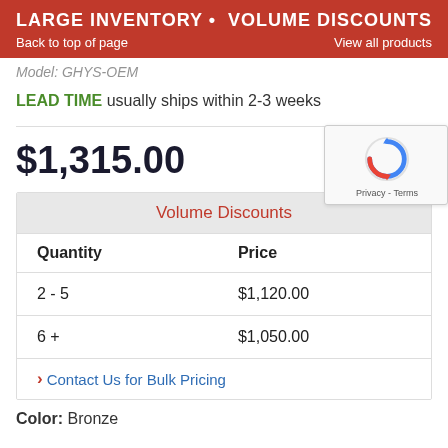LARGE INVENTORY • VOLUME DISCOUNTS
Back to top of page    View all products
Model: (truncated)
LEAD TIME usually ships within 2-3 weeks
$1,315.00
| Quantity | Price |
| --- | --- |
| 2 - 5 | $1,120.00 |
| 6 + | $1,050.00 |
Contact Us for Bulk Pricing
Color: Bronze